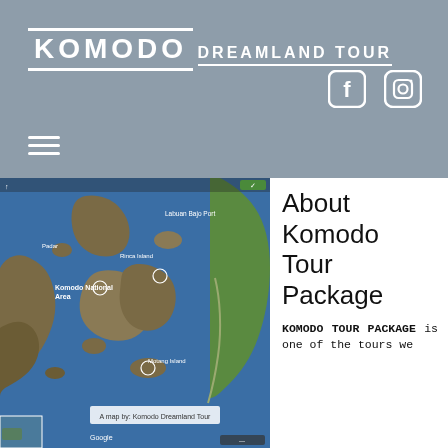KOMODO DREAMLAND TOUR
[Figure (logo): Komodo Dreamland Tour logo with Facebook and Instagram social icons and hamburger menu]
[Figure (map): Satellite map of Komodo area islands with labels including Komodo National Park Area, Labuan Bajo Port, Rinca Island, and other islands. Map attribution: A map by: Komodo Dreamland Tour]
About Komodo Tour Package
KOMODO TOUR PACKAGE is one of the tours we